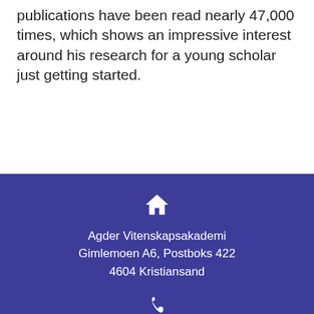publications have been read nearly 47,000 times, which shows an impressive interest around his research for a young scholar just getting started.
Agder Vitenskapsakademi
Gimlemoen A6, Postboks 422
4604 Kristiansand